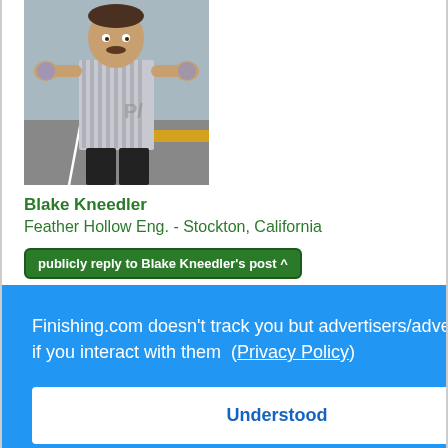[Figure (photo): Profile photo of Blake Kneedler, a man standing outdoors in a parking lot holding objects, wearing a striped shirt]
Blake Kneedler
Feather Hollow Eng. - Stockton, California
publicly reply to Blake Kneedler's post ^
Finishing.com doesn't track you but advertisers/advertisements might if you interact with them (Privacy Policy)
Understood
S
ndle
n this
part that snap into the pawl. The issue is the parts are